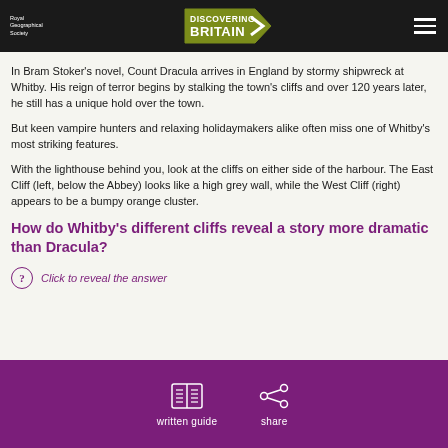Royal Geographical Society | Discovering Britain
In Bram Stoker's novel, Count Dracula arrives in England by stormy shipwreck at Whitby. His reign of terror begins by stalking the town's cliffs and over 120 years later, he still has a unique hold over the town.
But keen vampire hunters and relaxing holidaymakers alike often miss one of Whitby's most striking features.
With the lighthouse behind you, look at the cliffs on either side of the harbour. The East Cliff (left, below the Abbey) looks like a high grey wall, while the West Cliff (right) appears to be a bumpy orange cluster.
How do Whitby's different cliffs reveal a story more dramatic than Dracula?
Click to reveal the answer
written guide   share